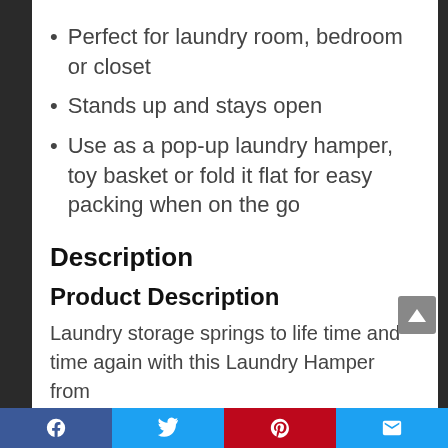Perfect for laundry room, bedroom or closet
Stands up and stays open
Use as a pop-up laundry hamper, toy basket or fold it flat for easy packing when on the go
Description
Product Description
Laundry storage springs to life time and time again with this Laundry Hamper from